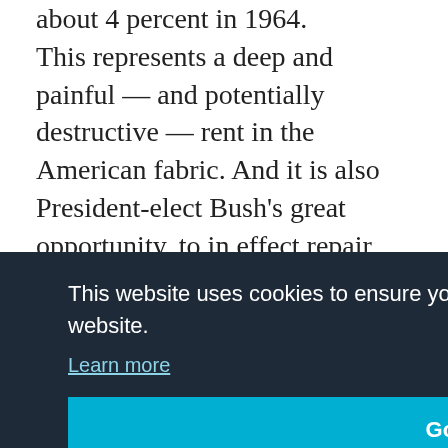about 4 percent in 1964. This represents a deep and painful — and potentially destructive — rent in the American fabric. And it is also President-elect Bush's great opportunity, to in effect repair the damage left over from 1877 and unite the country both geographically and racially. Bush has an opportunity to promote national unity and racial progress in at least two ways with the… the … able … uding … za … rick … g … o not only symbolically but also substantively
This website uses cookies to ensure you get the best experience on our website. Learn more Got it!